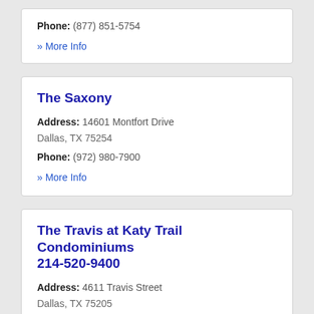Phone: (877) 851-5754
» More Info
The Saxony
Address: 14601 Montfort Drive Dallas, TX 75254
Phone: (972) 980-7900
» More Info
The Travis at Katy Trail Condominiums 214-520-9400
Address: 4611 Travis Street Dallas, TX 75205
Phone: (214) 219-1700